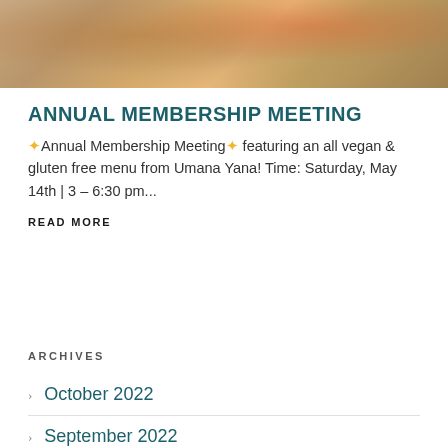[Figure (photo): Top portion of a photo showing hands, possibly at a meeting or food event, with warm tones of red, orange, and brown]
ANNUAL MEMBERSHIP MEETING
✦Annual Membership Meeting✦ featuring an all vegan & gluten free menu from Umana Yana! Time: Saturday, May 14th | 3 – 6:30 pm...
READ MORE
ARCHIVES
October 2022
September 2022